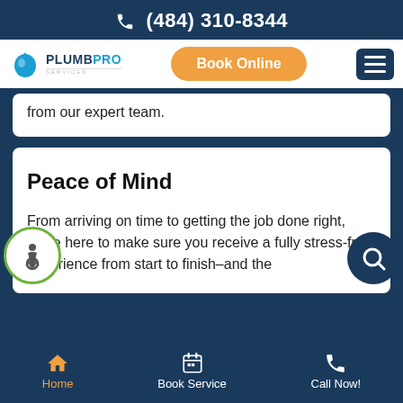(484) 310-8344
[Figure (logo): PlumbPro Services logo with blue water drop icon and blue/teal brand text]
Book Online
[Figure (other): Hamburger menu icon (three white horizontal lines on dark blue square)]
from our expert team.
Peace of Mind
From arriving on time to getting the job done right, we're here to make sure you receive a fully stress-free experience from start to finish–and the
[Figure (other): Green circle accessibility wheelchair icon]
[Figure (other): Dark blue circle chat/search icon]
Home  Book Service  Call Now!